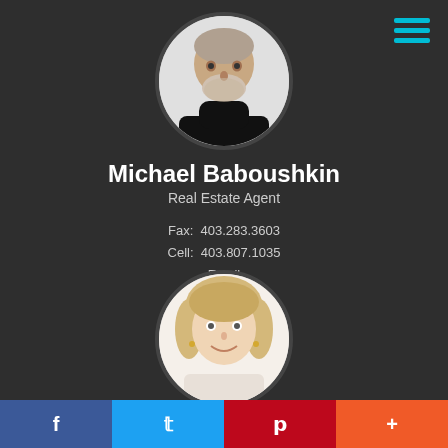[Figure (photo): Circular headshot of Michael Baboushkin, a middle-aged man with white beard wearing a black turtleneck]
Michael Baboushkin
Real Estate Agent
Fax:  403.283.3603
Cell:  403.807.1035
Email
[Figure (photo): Circular headshot of April DeJong, a blonde woman smiling]
April DeJong